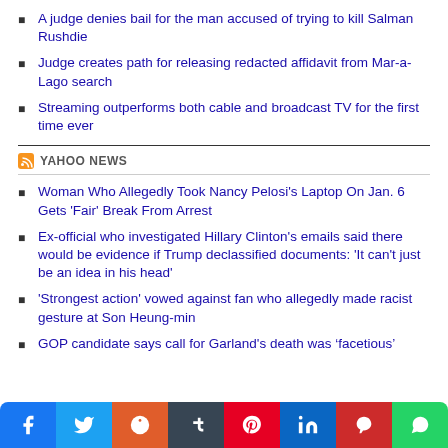A judge denies bail for the man accused of trying to kill Salman Rushdie
Judge creates path for releasing redacted affidavit from Mar-a-Lago search
Streaming outperforms both cable and broadcast TV for the first time ever
YAHOO NEWS
Woman Who Allegedly Took Nancy Pelosi's Laptop On Jan. 6 Gets 'Fair' Break From Arrest
Ex-official who investigated Hillary Clinton's emails said there would be evidence if Trump declassified documents: 'It can't just be an idea in his head'
'Strongest action' vowed against fan who allegedly made racist gesture at Son Heung-min
GOP candidate says call for Garland's death was ‘facetious’